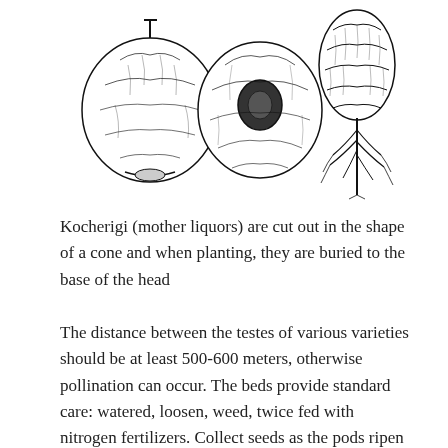[Figure (illustration): Three black-and-white botanical illustrations showing cross-sections and views of what appear to be onion or garlic bulbs/heads, and a root system. Left: exterior view of a round bulb head. Center: cross-section showing an eye/cavity. Right: a bulb with visible root system below.]
Kocherigi (mother liquors) are cut out in the shape of a cone and when planting, they are buried to the base of the head
The distance between the testes of various varieties should be at least 500-600 meters, otherwise pollination can occur. The beds provide standard care: watered, loosen, weed, twice fed with nitrogen fertilizers. Collect seeds as the pods ripen and dry.